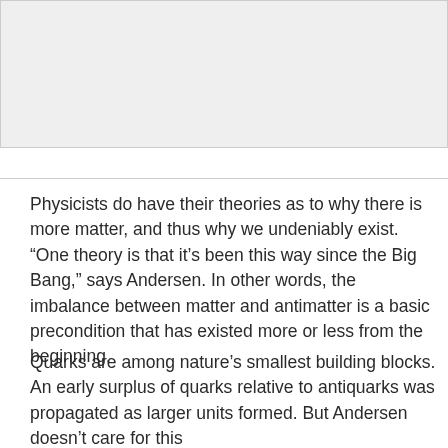[Figure (photo): Light gray placeholder image area at the top of the page]
Physicists do have their theories as to why there is more matter, and thus why we undeniably exist. “One theory is that it’s been this way since the Big Bang,” says Andersen. In other words, the imbalance between matter and antimatter is a basic precondition that has existed more or less from the beginning.
Quarks are among nature’s smallest building blocks. An early surplus of quarks relative to antiquarks was propagated as larger units formed. But Andersen doesn’t care for this